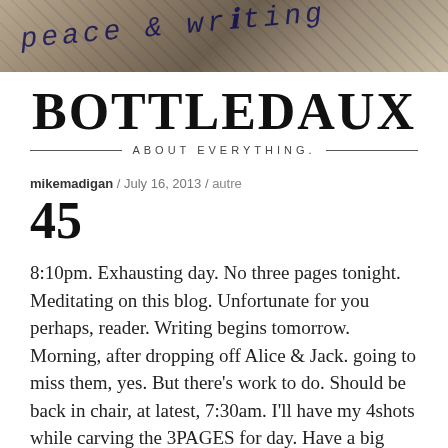[Figure (photo): Handwritten text on a tan/brown paper background forming a banner image at the top of the page]
BOTTLEDAUX
ABOUT EVERYTHING.
mikemadigan / July 16, 2013 / autre
45
8:10pm.  Exhausting day.  No three pages tonight.  Meditating on this blog.  Unfortunate for you perhaps, reader.  Writing begins tomorrow.  Morning, after dropping off Alice & Jack.  going to miss them, yes.  But there’s work to do.  Should be back in chair, at latest, 7:30am.  I’ll have my 4shots while carving the 3PAGES for day.  Have a big group